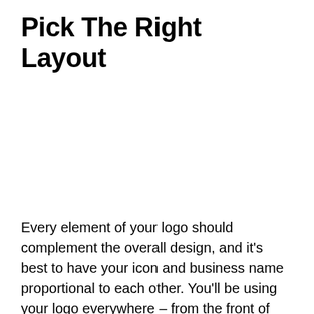Pick The Right Layout
Every element of your logo should complement the overall design, and it's best to have your icon and business name proportional to each other. You'll be using your logo everywhere – from the front of your store to your website